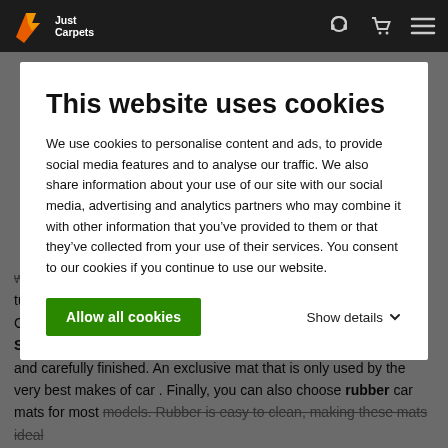[Figure (logo): Just Carpets logo with orange/red graphic mark and white text on dark nav bar]
This website uses cookies
We use cookies to personalise content and ads, to provide social media features and to analyse our traffic. We also share information about your use of our site with our social media, advertising and analytics partners who may combine it with other information that you’ve provided to them or that they’ve collected from your use of their services. You consent to our cookies if you continue to use our website.
Allow all cookies
Show details
woven carpet. For these car mats, we use high-quality tufted velour carpet, guaranteeing a luxurious look worthy of your Cupra Leon. If you want the very best for your car, choose our Saxony car mats. Made of very high-quality carpet, precision cut and carefully finished. An exclusive mat that is only used by the very best makes of car . Finally, you can also choose rubber car mats for most models. Rubber is easy to clean, making these mats ideal